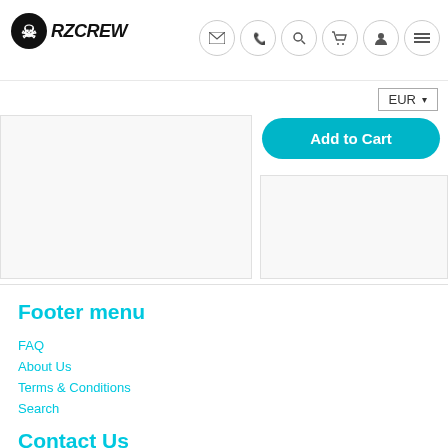RZCrew - header navigation with logo, icons (email, phone, search, cart, user, menu), EUR currency selector
[Figure (screenshot): Add to Cart button (teal/cyan rounded button) and product image placeholder areas]
Footer menu
FAQ
About Us
Terms & Conditions
Search
Contact Us